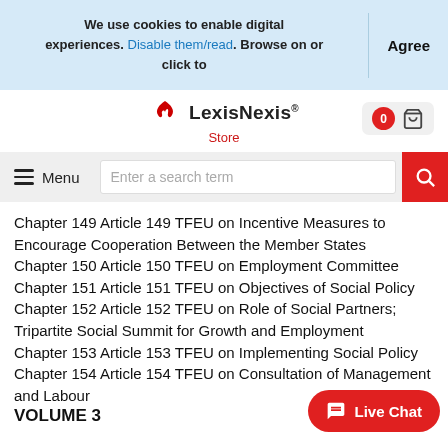We use cookies to enable digital experiences. Disable them/read. Browse on or click to   Agree
[Figure (logo): LexisNexis Store logo with shopping cart button showing 0 items]
[Figure (screenshot): Navigation bar with hamburger Menu button, search input 'Enter a search term', and red search button]
Chapter 149 Article 149 TFEU on Incentive Measures to Encourage Cooperation Between the Member States Chapter 150 Article 150 TFEU on Employment Committee Chapter 151 Article 151 TFEU on Objectives of Social Policy Chapter 152 Article 152 TFEU on Role of Social Partners; Tripartite Social Summit for Growth and Employment Chapter 153 Article 153 TFEU on Implementing Social Policy Chapter 154 Article 154 TFEU on Consultation of Management and Labour
VOLUME 3
[Figure (screenshot): Live Chat button (red pill-shaped button)]